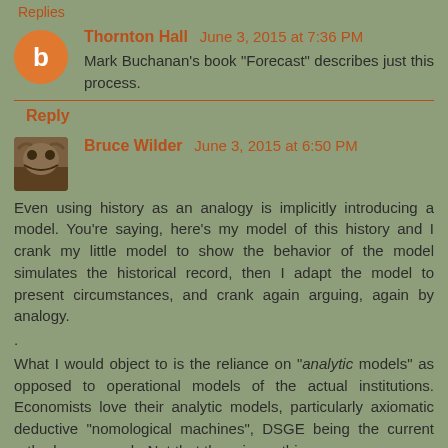Replies
Thornton Hall  June 3, 2015 at 7:36 PM
Mark Buchanan's book "Forecast" describes just this process.
Reply
Bruce Wilder  June 3, 2015 at 6:50 PM
Even using history as an analogy is implicitly introducing a model. You're saying, here's my model of this history and I crank my little model to show the behavior of the model simulates the historical record, then I adapt the model to present circumstances, and crank again arguing, again by analogy.

.

What I would object to is the reliance on "analytic models" as opposed to operational models of the actual institutions. Economists love their analytic models, particularly axiomatic deductive "nomological machines", DSGE being the current orthodox approach. Not that there is anything